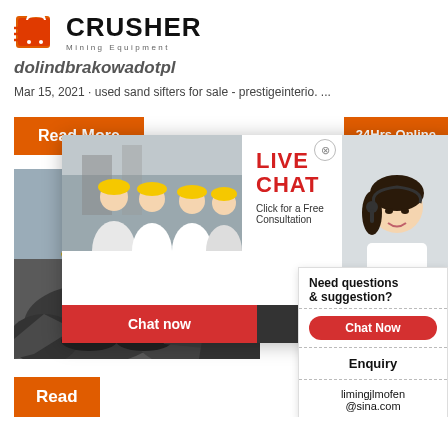[Figure (logo): Crusher Mining Equipment logo with red shopping bag icon and bold CRUSHER text]
dolindbrakowadotpl
Mar 15, 2021 · used sand sifters for sale - prestigeinterio. ...
[Figure (screenshot): Web page screenshot with Read More orange button, 24Hrs Online button, mining excavator image, live chat overlay with workers in hard hats, chat now/chat later buttons, and right sidebar with Need questions & suggestion Chat Now Enquiry limingjlmofen@sina.com]
and sif
Redneck C
Read
Need questions & suggestion?
Chat Now
Enquiry
limingjlmofen@sina.com